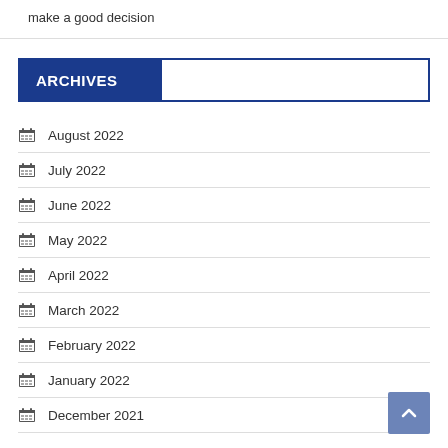make a good decision
ARCHIVES
August 2022
July 2022
June 2022
May 2022
April 2022
March 2022
February 2022
January 2022
December 2021